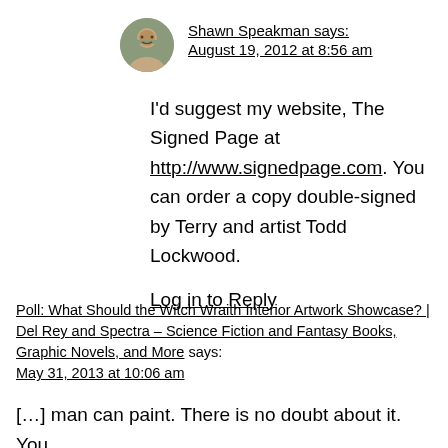Shawn Speakman says:
August 19, 2012 at 8:56 am
I'd suggest my website, The Signed Page at http://www.signedpage.com. You can order a copy double-signed by Terry and artist Todd Lockwood.
Log in to Reply
Poll: What Should the Witch Wraith Interior Artwork Showcase? | Del Rey and Spectra – Science Fiction and Fantasy Books, Graphic Novels, and More says:
May 31, 2013 at 10:06 am
[…] man can paint. There is no doubt about it. You